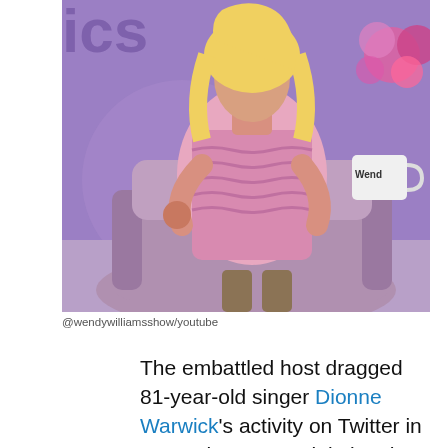[Figure (photo): A woman with long blonde hair wearing a pink patterned long-sleeve dress sits in a pink/mauve armchair on a talk show set with purple background. A mug labeled 'Wend' and pink flowers are visible in the background. Partial 'ics' text visible top left.]
@wendywilliamsshow/youtube
The embattled host dragged 81-year-old singer Dionne Warwick's activity on Twitter in December 2020, claiming the artist likely has to have her niece, Brittani, help her use social media.